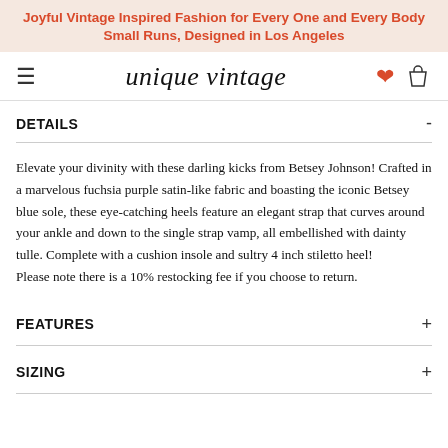Joyful Vintage Inspired Fashion for Every One and Every Body
Small Runs, Designed in Los Angeles
[Figure (logo): Unique Vintage logo with hamburger menu, heart icon, and shopping bag icon in navigation bar]
DETAILS
Elevate your divinity with these darling kicks from Betsey Johnson! Crafted in a marvelous fuchsia purple satin-like fabric and boasting the iconic Betsey blue sole, these eye-catching heels feature an elegant strap that curves around your ankle and down to the single strap vamp, all embellished with dainty tulle. Complete with a cushion insole and sultry 4 inch stiletto heel!
Please note there is a 10% restocking fee if you choose to return.
FEATURES
SIZING